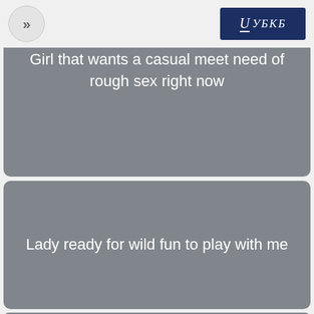>> | УБКБ
Girl that wants a casual meet need of rough sex right now
Lady ready for wild fun to play with me